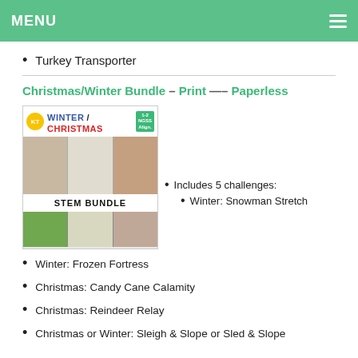MENU
Turkey Transporter
Christmas/Winter Bundle – Print —– Paperless
[Figure (illustration): Winter/Christmas STEM Bundle product image showing holiday photos and text]
Includes 5 challenges:
Winter: Snowman Stretch
Winter: Frozen Fortress
Christmas: Candy Cane Calamity
Christmas: Reindeer Relay
Christmas or Winter: Sleigh & Slope or Sled & Slope